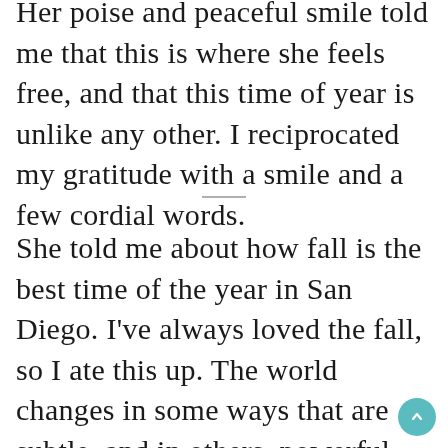Her poise and peaceful smile told me that this is where she feels free, and that this time of year is unlike any other. I reciprocated my gratitude with a smile and a few cordial words.
She told me about how fall is the best time of the year in San Diego. I've always loved the fall, so I ate this up. The world changes in some ways that are subtle, and in others, powerful. The world begins its descent into the introspection and slumber